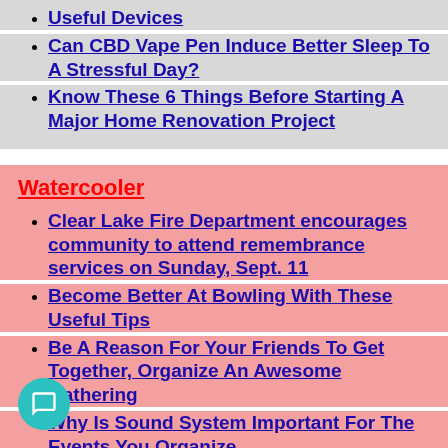Useful Devices
Can CBD Vape Pen Induce Better Sleep To A Stressful Day?
Know These 6 Things Before Starting A Major Home Renovation Project
Watercooler
Clear Lake Fire Department encourages community to attend remembrance services on Sunday, Sept. 11
Become Better At Bowling With These Useful Tips
Be A Reason For Your Friends To Get Together, Organize An Awesome Gathering
Why Is Sound System Important For The Events You Organize
How to Have an Unforgettable Honeymoon with your Partner
Shooting claims man's life in Waterloo; suspect